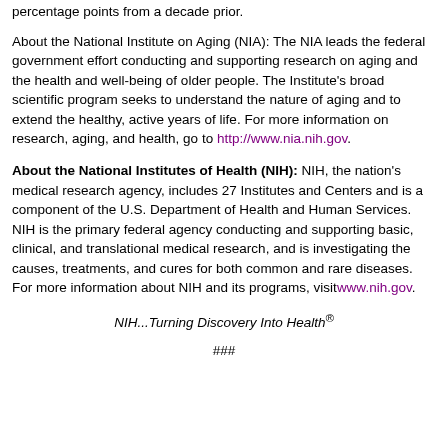percentage points from a decade prior.
About the National Institute on Aging (NIA): The NIA leads the federal government effort conducting and supporting research on aging and the health and well-being of older people. The Institute's broad scientific program seeks to understand the nature of aging and to extend the healthy, active years of life. For more information on research, aging, and health, go to http://www.nia.nih.gov.
About the National Institutes of Health (NIH): NIH, the nation's medical research agency, includes 27 Institutes and Centers and is a component of the U.S. Department of Health and Human Services. NIH is the primary federal agency conducting and supporting basic, clinical, and translational medical research, and is investigating the causes, treatments, and cures for both common and rare diseases. For more information about NIH and its programs, visit www.nih.gov.
NIH...Turning Discovery Into Health®
###